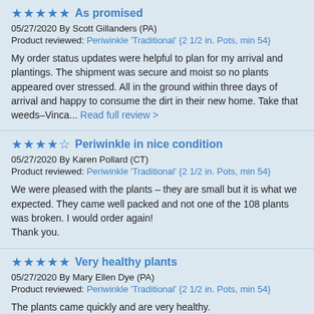★★★★★ As promised
05/27/2020 By Scott Gillanders (PA)
Product reviewed: Periwinkle 'Traditional' {2 1/2 in. Pots, min 54}
My order status updates were helpful to plan for my arrival and plantings. The shipment was secure and moist so no plants appeared over stressed. All in the ground within three days of arrival and happy to consume the dirt in their new home. Take that weeds–Vinca... Read full review >
★★★★☆ Periwinkle in nice condition
05/27/2020 By Karen Pollard (CT)
Product reviewed: Periwinkle 'Traditional' {2 1/2 in. Pots, min 54}
We were pleased with the plants – they are small but it is what we expected. They came well packed and not one of the 108 plants was broken. I would order again!
Thank you.
★★★★★ Very healthy plants
05/27/2020 By Mary Ellen Dye (PA)
Product reviewed: Periwinkle 'Traditional' {2 1/2 in. Pots, min 54}
The plants came quickly and are very healthy.